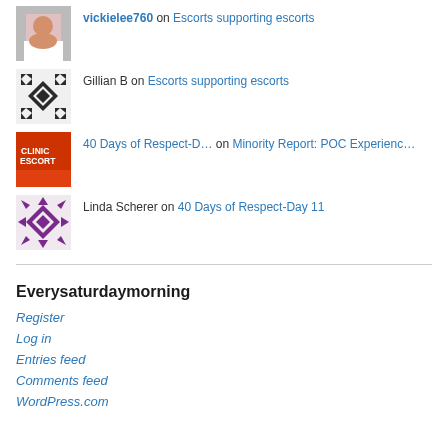vickielee760 on Escorts supporting escorts
Gillian B on Escorts supporting escorts
40 Days of Respect-D… on Minority Report: POC Experienc…
Linda Scherer on 40 Days of Respect-Day 11
Everysaturdaymorning
Register
Log in
Entries feed
Comments feed
WordPress.com